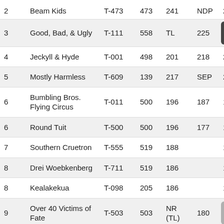| # | Name | Code | Col1 | Col2 | Col3 | Col4 | Col5 |
| --- | --- | --- | --- | --- | --- | --- | --- |
| 2 | Beam Kids | T-473 | 473 | 241 | NDP | 241 | 42 |
| 3 | Good, Bad, & Ugly | T-111 | 558 | TL | 225 | [menu] | 28 |
| 4 | Jeckyll & Hyde | T-001 | 498 | 201 | 218 | 218 | 14 |
| 5 | Mostly Harmless | T-609 | 139 | 217 | SEP | 217 | 71 |
| 6 | Bumbling Bros. Flying Circus | T-011 | 500 | 196 | 187 | 196 | 71 |
| 6 | Round Tuit | T-500 | 500 | 196 | 177 | 196 | 71 |
| 7 | Southern Cruetron | T-555 | 519 | 188 |  | 188 | 71 |
| 8 | Drei Woebkenberg | T-711 | 519 | 186 |  | 186 | 71 |
| 8 | Kealakekua | T-098 | 205 | 186 |  | 186 | 71 |
| 9 | Over 40 Victims of Fate | T-503 | 503 | NR (TL) | 180 | [scroll] | 71 |